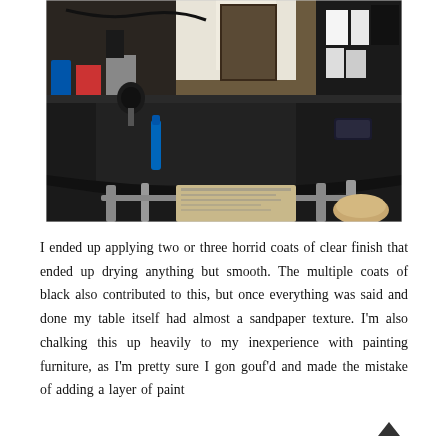[Figure (photo): A black desk/table with a dark matte surface, photographed from above and to the side. A smartphone sits on the right edge of the desk. Behind the desk are shelves with various items including bottles and boxes. Newspapers are spread on the floor under the desk. The room has a hardwood floor and a door visible in the background.]
I ended up applying two or three horrid coats of clear finish that ended up drying anything but smooth. The multiple coats of black also contributed to this, but once everything was said and done my table itself had almost a sandpaper texture. I'm also chalking this up heavily to my inexperience with painting furniture, as I'm pretty sure I gon gouf'd and made the mistake of adding a layer of paint